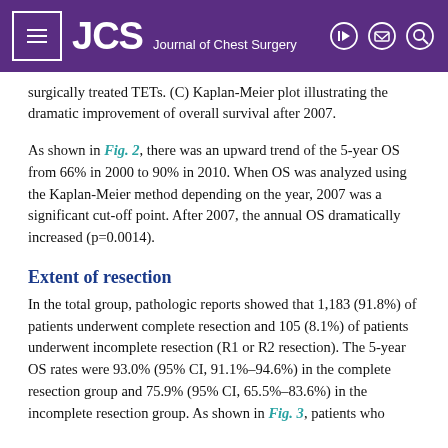JCS Journal of Chest Surgery
surgically treated TETs. (C) Kaplan-Meier plot illustrating the dramatic improvement of overall survival after 2007.
As shown in Fig. 2, there was an upward trend of the 5-year OS from 66% in 2000 to 90% in 2010. When OS was analyzed using the Kaplan-Meier method depending on the year, 2007 was a significant cut-off point. After 2007, the annual OS dramatically increased (p=0.0014).
Extent of resection
In the total group, pathologic reports showed that 1,183 (91.8%) of patients underwent complete resection and 105 (8.1%) of patients underwent incomplete resection (R1 or R2 resection). The 5-year OS rates were 93.0% (95% CI, 91.1%–94.6%) in the complete resection group and 75.9% (95% CI, 65.5%–83.6%) in the incomplete resection group. As shown in Fig. 3, patients who